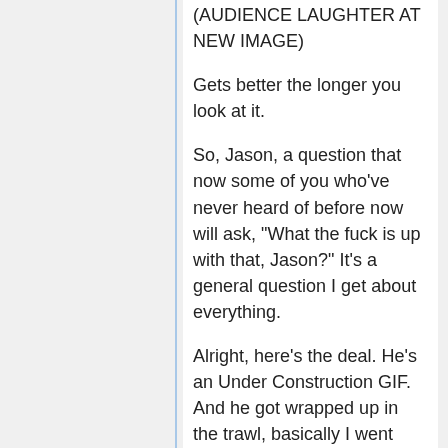(AUDIENCE LAUGHTER AT NEW IMAGE)
Gets better the longer you look at it.
So, Jason, a question that now some of you who've never heard of before now will ask, "What the fuck is up with that, Jason?" It's a general question I get about everything.
Alright, here's the deal. He's an Under Construction GIF. And he got wrapped up in the trawl, basically I went through a bunch of GeoCities stuff and found a bunch of Under Construction GIFs, and he was one of them.
And I was like "What the hell is that? What's the fucking story about Bulgy McFish-Hat guy?" so I go look it up, and it's this guy in the Hollywood Hills section, and he is gay, and he has a